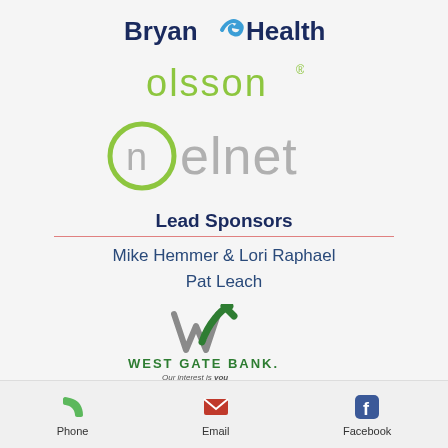[Figure (logo): Bryan Health logo with swoosh arrow]
[Figure (logo): Olsson logo in green]
[Figure (logo): Nelnet logo with circle n]
Lead Sponsors
Mike Hemmer & Lori Raphael
Pat Leach
[Figure (logo): West Gate Bank logo with W checkmark and tagline Our interest is you]
Phone
Email
Facebook